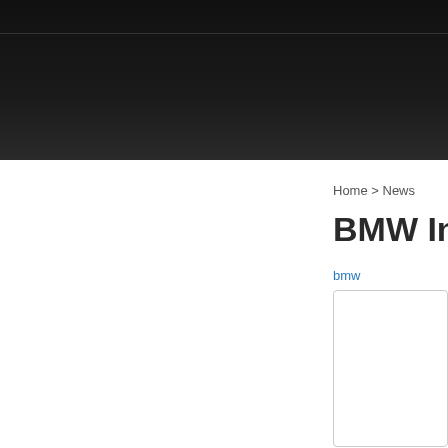Home > News
BMW Intr
bmw
[Figure (other): Empty content box / image placeholder with rounded border]